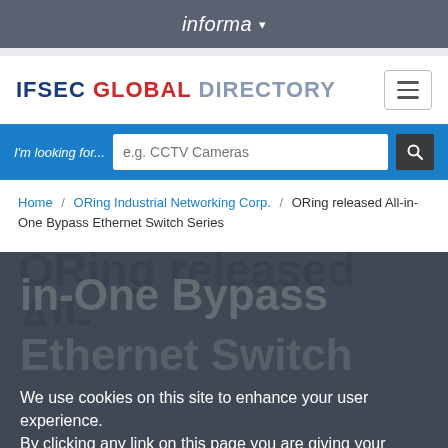informa ▾
IFSEC GLOBAL DIRECTORY
I'm looking for...  e.g. CCTV Cameras
Home / ORing Industrial Networking Corp. / ORing released All-in-One Bypass Ethernet Switch Series
ORing released All-in-One Bypass Ethernet Switch Series
We use cookies on this site to enhance your user experience.
By clicking any link on this page you are giving your consent for us to set cookies.